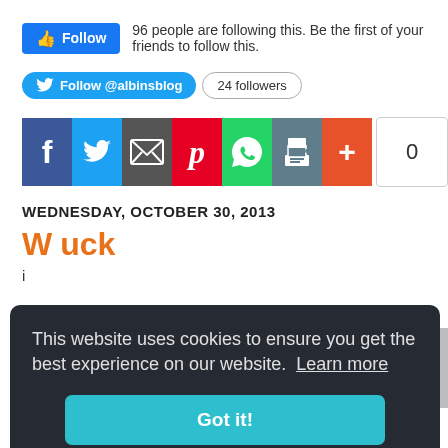[Figure (screenshot): Facebook Follow button with text '96 people are following this. Be the first of your friends to follow this.']
[Figure (screenshot): Twitter Follow @albinsblog button with 24 followers badge]
[Figure (screenshot): Social share bar with Facebook, Twitter, email, Pinterest, WhatsApp, print, more icons and a count of 0]
WEDNESDAY, OCTOBER 30, 2013
W...uck i...
[Figure (screenshot): Cookie consent popup: 'This website uses cookies to ensure you get the best experience on our website. Learn more' with a 'Got it!' button]